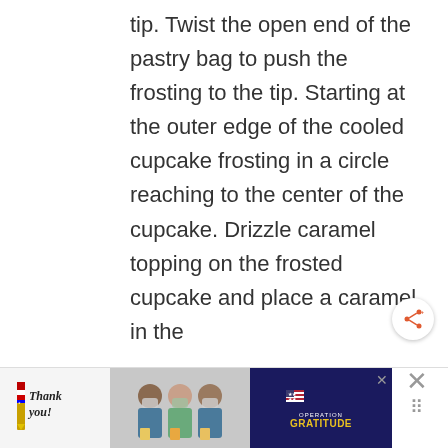tip. Twist the open end of the pastry bag to push the frosting to the tip. Starting at the outer edge of the cooled cupcake frosting in a circle reaching to the center of the cupcake. Drizzle caramel topping on the frosted cupcake and place a caramel in the
[Figure (photo): Advertisement banner at the bottom of the page showing 'Thank you' with a US flag pencil graphic on the left, a photo of masked medical workers in the center, and an Operation Gratitude logo on a navy background on the right. An X close button is visible.]